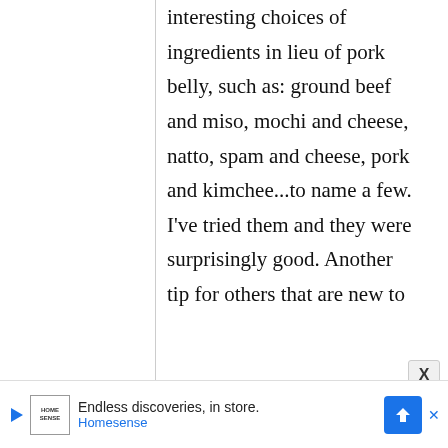interesting choices of ingredients in lieu of pork belly, such as: ground beef and miso, mochi and cheese, natto, spam and cheese, pork and kimchee...to name a few. I've tried them and they were surprisingly good. Another tip for others that are new to
[Figure (other): Close button (X) in a rounded rectangle at bottom right of content area]
[Figure (other): Advertisement bar for Homesense: play icon, Homesense logo box, text 'Endless discoveries, in store.' and 'Homesense' in blue, blue arrow direction sign icon, X close button]